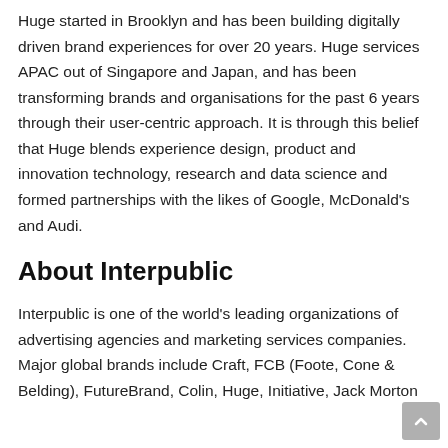Huge started in Brooklyn and has been building digitally driven brand experiences for over 20 years. Huge services APAC out of Singapore and Japan, and has been transforming brands and organisations for the past 6 years through their user-centric approach. It is through this belief that Huge blends experience design, product and innovation technology, research and data science and formed partnerships with the likes of Google, McDonald's and Audi.
About Interpublic
Interpublic is one of the world's leading organizations of advertising agencies and marketing services companies. Major global brands include Craft, FCB (Foote, Cone & Belding), FutureBrand, Colin, Huge, Initiative, Jack Morton...